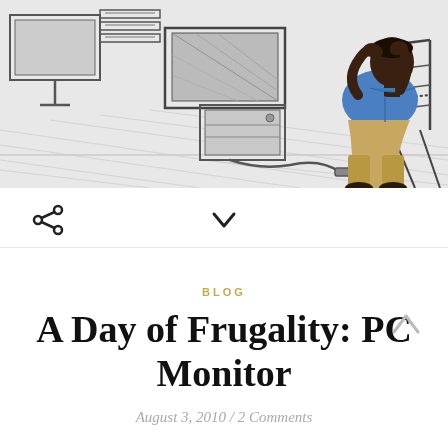[Figure (illustration): Stylized illustration combining pencil sketch and color: a man in a blue shirt and khaki pants crouches on a chair looking at disassembled computer equipment and monitors on a floor, drawn in black-and-white sketch style with the man's figure rendered in full color.]
< (share icon)   v (chevron down)
BLOG
A Day of Frugality: PC Monitor
August 3, 2010 / 2 Comments